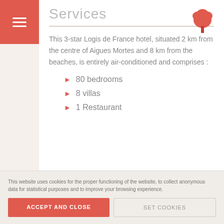Services
This 3-star Logis de France hotel, situated 2 km from the centre of Aigues Mortes and 8 km from the beaches, is entirely air-conditioned and comprises :
80 bedrooms
8 villas
1 Restaurant
This website uses cookies for the proper functioning of the website, to collect anonymous data for statistical purposes and to improve your browsing experience.